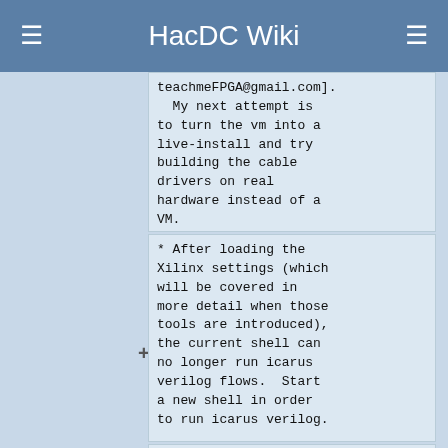HacDC Wiki
teachmeFPGA@gmail.com].
  My next attempt is to turn the vm into a live-install and try building the cable drivers on real hardware instead of a VM.
* After loading the Xilinx settings (which will be covered in more detail when those tools are introduced), the current shell can no longer run icarus verilog flows.  Start a new shell in order to run icarus verilog.
* Its a fairly